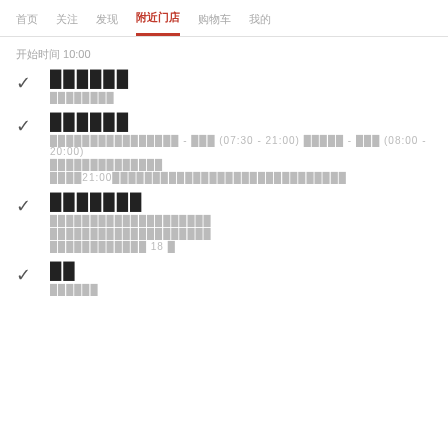首页 关注 发现 附近门店 购物车 我的
开始时间 10:00
████████
████████████
████████
████████████████████ - ████ (07:30 - 21:00) ████████ - ████ (08:00 - 20:00) ███████████████████ ████21:00████████████████████████████████
████████
████████████████████ ████████████████████ ████████████████ 18 █
██
████████